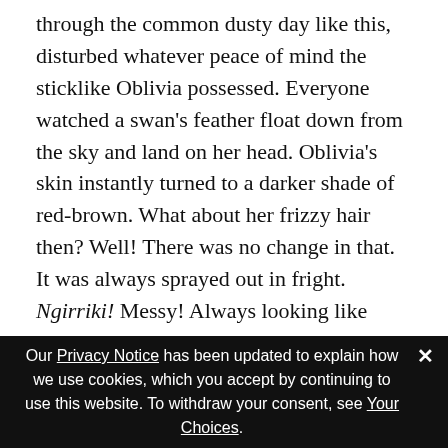through the common dusty day like this, disturbed whatever peace of mind the sticklike Oblivia possessed. Everyone watched a swan's feather float down from the sky and land on her head. Oblivia's skin instantly turned to a darker shade of red-brown. What about her frizzy hair then? Well! There was no change in that. It was always sprayed out in fright. Ngirriki! Messy! Always looking like tossed winter straw that needed rope to tie it down. She was psychological. Warraku. Mad. Even madder than ever...This is the kind of harm the accumulated experience of an exile will do to you, to anyone who believes that they had slept away half their life in the
Our Privacy Notice has been updated to explain how we use cookies, which you accept by continuing to use this website. To withdraw your consent, see Your Choices.